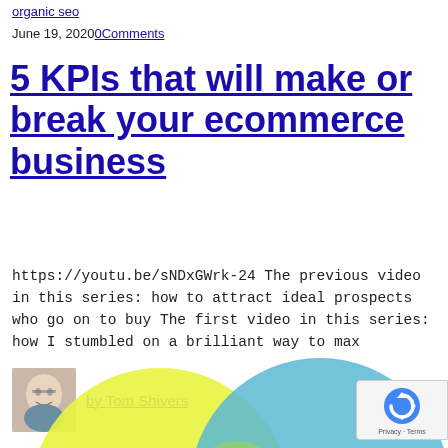organic seo
June 19, 2020   0Comments
5 KPIs that will make or break your ecommerce business
https://youtu.be/sNDxGWrk-24 The previous video in this series: how to attract ideal prospects who go on to buy The first video in this series: how I stumbled on a brilliant way to max
by Tom Shivers
[Figure (illustration): Venn diagram showing overlapping yellow and blue circles with a green overlap region, partially visible at bottom of page]
[Figure (logo): Google reCAPTCHA badge with recycle/arrow icon and Privacy · Terms text]